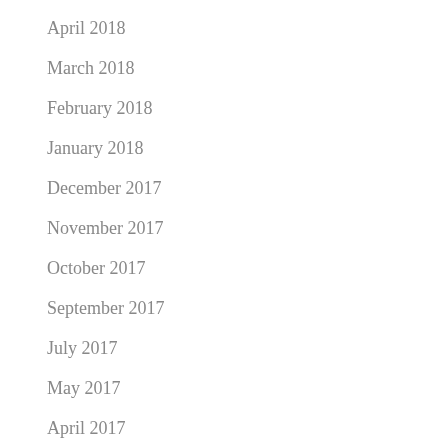April 2018
March 2018
February 2018
January 2018
December 2017
November 2017
October 2017
September 2017
July 2017
May 2017
April 2017
February 2017